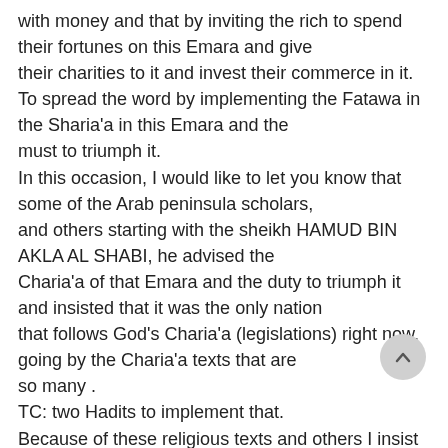with money and that by inviting the rich to spend their fortunes on this Emara and give their charities to it and invest their commerce in it. To spread the word by implementing the Fatawa in the Sharia'a in this Emara and the must to triumph it. In this occasion, I would like to let you know that some of the Arab peninsula scholars, and others starting with the sheikh HAMUD BIN AKLA AL SHABI, he advised the Charia'a of that Emara and the duty to triumph it and insisted that it was the only nation that follows God's Charia'a (legislations) right now, going by the Charia'a texts that are so many . TC: two Hadits to implement that. Because of these religious texts and others I insist that you pledge the allegiant to Al